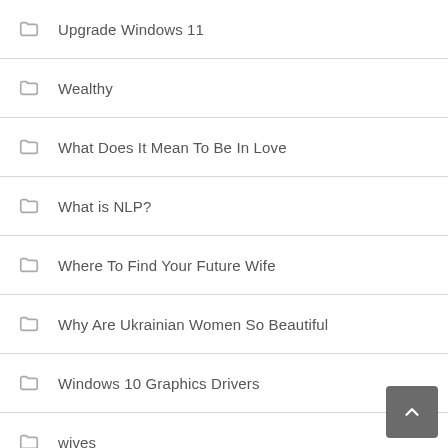Upgrade Windows 11
Wealthy
What Does It Mean To Be In Love
What is NLP?
Where To Find Your Future Wife
Why Are Ukrainian Women So Beautiful
Windows 10 Graphics Drivers
wives
woman for marriage
women dating